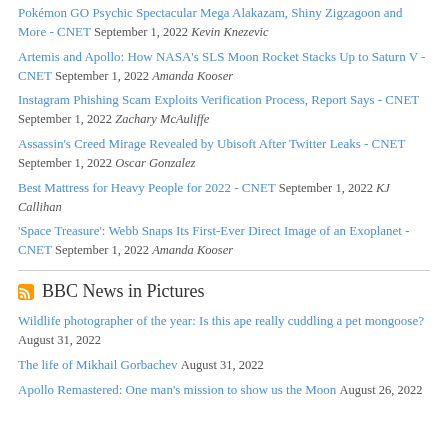Pokémon GO Psychic Spectacular Mega Alakazam, Shiny Zigzagoon and More - CNET September 1, 2022 Kevin Knezevic
Artemis and Apollo: How NASA's SLS Moon Rocket Stacks Up to Saturn V - CNET September 1, 2022 Amanda Kooser
Instagram Phishing Scam Exploits Verification Process, Report Says - CNET September 1, 2022 Zachary McAuliffe
Assassin's Creed Mirage Revealed by Ubisoft After Twitter Leaks - CNET September 1, 2022 Oscar Gonzalez
Best Mattress for Heavy People for 2022 - CNET September 1, 2022 KJ Callihan
'Space Treasure': Webb Snaps Its First-Ever Direct Image of an Exoplanet - CNET September 1, 2022 Amanda Kooser
BBC News in Pictures
Wildlife photographer of the year: Is this ape really cuddling a pet mongoose? August 31, 2022
The life of Mikhail Gorbachev August 31, 2022
Apollo Remastered: One man's mission to show us the Moon August 26, 2022